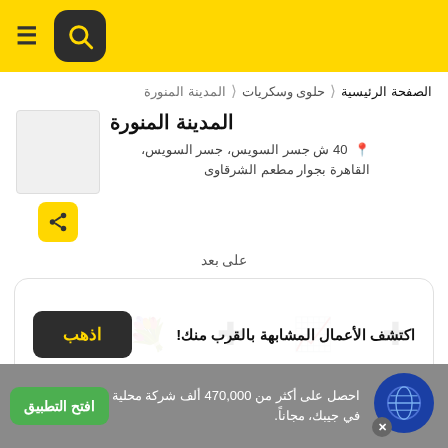شريط تنقل التطبيق - قائمة وبحث
الصفحة الرئيسية ❯ حلوى وسكريات ❯ المدينة المنورة
المدينة المنورة
40 ش جسر السويس، جسر السويس، القاهرة بجوار مطعم الشرقاوى
على بعد
اكتشف الأعمال المشابهة بالقرب منك! اذهب
احصل على أكثر من 470,000 ألف شركة محلية في جيبك، مجاناً. افتح التطبيق